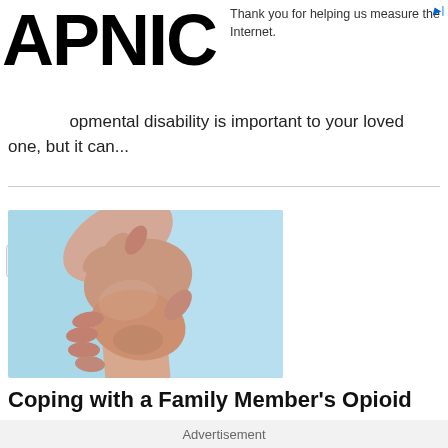APNIC
Thank you for helping us measure the Internet.
opmental disability is important to your loved one, but it can...
[Figure (photo): Two hands clasping each other against a light blue background, symbolizing support or helping someone.]
Coping with a Family Member's Opioid
Advertisement